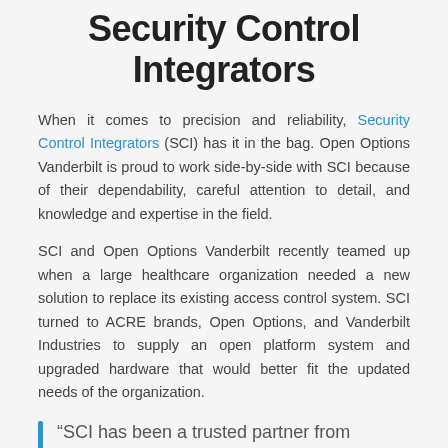Security Control Integrators
When it comes to precision and reliability, Security Control Integrators (SCI) has it in the bag. Open Options Vanderbilt is proud to work side-by-side with SCI because of their dependability, careful attention to detail, and knowledge and expertise in the field.
SCI and Open Options Vanderbilt recently teamed up when a large healthcare organization needed a new solution to replace its existing access control system. SCI turned to ACRE brands, Open Options, and Vanderbilt Industries to supply an open platform system and upgraded hardware that would better fit the updated needs of the organization.
“SCI has been a trusted partner from